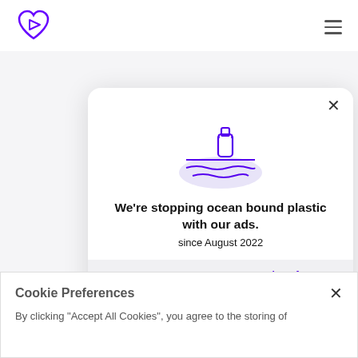[Figure (logo): Purple heart-shaped logo with a play button icon inside]
[Figure (illustration): Three horizontal hamburger menu lines]
W
[Figure (illustration): Purple line-art illustration of a plastic bottle floating on ocean waves, with a semicircle of light purple below]
We're stopping ocean bound plastic with our ads.
since August 2022
Making an impact with
[Figure (logo): Views for Change purple logo icon next to bold purple text 'views for change']
No Comments
Cookie Preferences
By clicking "Accept All Cookies", you agree to the storing of